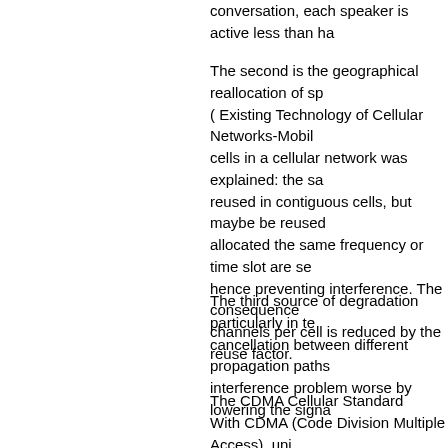conversation, each speaker is active less than ha
The second is the geographical reallocation of sp( Existing Technology of Cellular Networks-Mobile cells in a cellular network was explained: the sa reused in contiguous cells, but maybe be reused allocated the same frequency or time slot are se hence preventing interference. The consequence channels per cell is reduced by the reuse factor.
The third source of degradation particularly in te cancellation between different propagation paths interference problem worse by lowering the signa
The CDMA Cellular Standard
With CDMA (Code Division Multiple Access), uni RF (radio frequencies) frequencies or channels, codes are shared by both the mobile station (cel called pseudo-Random Code Sequences. All us spectrum.